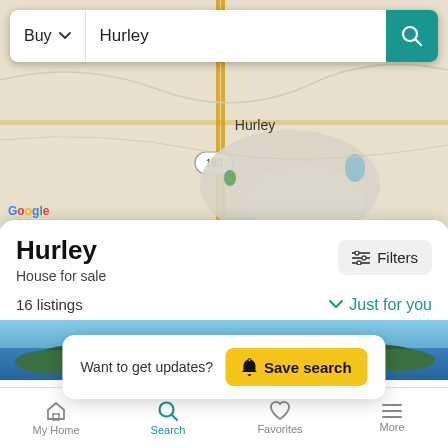[Figure (screenshot): Google Maps view of Hurley area showing road 180 and a body of water]
Buy  Hurley
Hurley
House for sale
Filters
16 listings
Just for you
Want to get updates?  Save search
[Figure (photo): Lake/water property listing photo]
My Home  Search  Favorites  More